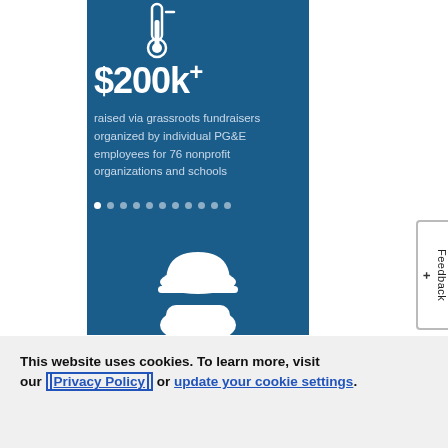[Figure (infographic): Blue card with thermometer icon at top, $200k+ amount text, description text about grassroots fundraisers, dot navigation indicators, and a worker/hard hat icon at the bottom. Background is dark blue (#1a5c8a).]
This website uses cookies. To learn more, visit our Privacy Policy or update your cookie settings.
Accept All Cookies